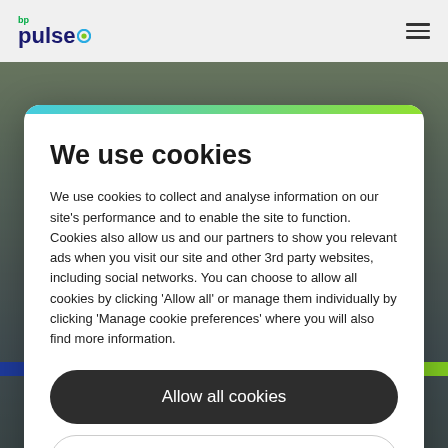[Figure (logo): bp pulse logo with green 'bp' text, dark blue 'pulse' text, and a circular icon]
[Figure (photo): Background photo of a bp pulse EV charging station with green hedges and signage, partially obscured by cookie consent modal]
We use cookies
We use cookies to collect and analyse information on our site's performance and to enable the site to function. Cookies also allow us and our partners to show you relevant ads when you visit our site and other 3rd party websites, including social networks. You can choose to allow all cookies by clicking ‘Allow all’ or manage them individually by clicking ‘Manage cookie preferences’ where you will also find more information.
Allow all cookies
Manage cookie preferences